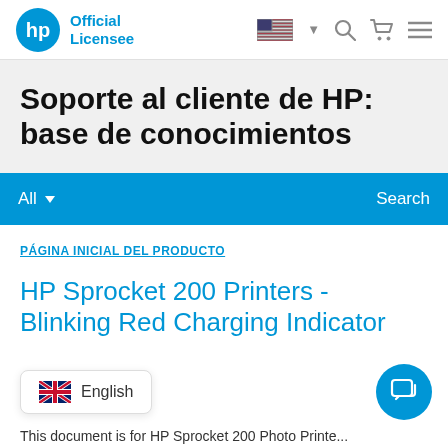HP Official Licensee
Soporte al cliente de HP: base de conocimientos
All ▾   Search
PÁGINA INICIAL DEL PRODUCTO
HP Sprocket 200 Printers - Blinking Red Charging Indicator
English
This document is for HP Sprocket 200 Photo Printe...